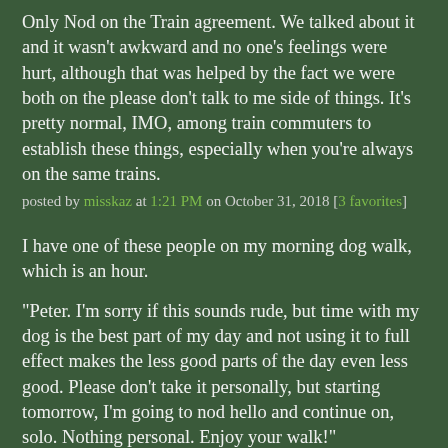Only Nod on the Train agreement. We talked about it and it wasn't awkward and no one's feelings were hurt, although that was helped by the fact we were both on the please don't talk to me side of things. It's pretty normal, IMO, among train commuters to establish these things, especially when you're always on the same trains.
posted by misskaz at 1:21 PM on October 31, 2018 [3 favorites]
I have one of these people on my morning dog walk, which is an hour.
"Peter. I'm sorry if this sounds rude, but time with my dog is the best part of my day and not using it to full effect makes the less good parts of the day even less good. Please don't take it personally, but starting tomorrow, I'm going to nod hello and continue on, solo. Nothing personal. Enjoy your walk!"